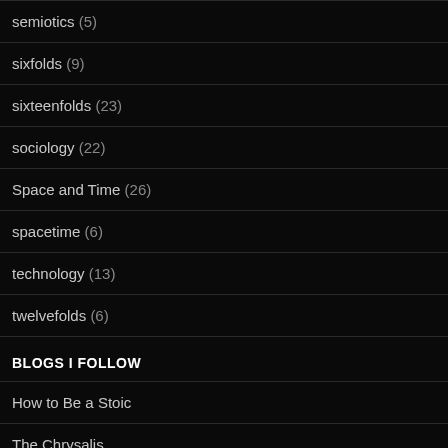semiotics (5)
sixfolds (9)
sixteenfolds (23)
sociology (22)
Space and Time (26)
spacetime (6)
technology (13)
twelvefolds (6)
BLOGS I FOLLOW
How to Be a Stoic
The Chrysalis